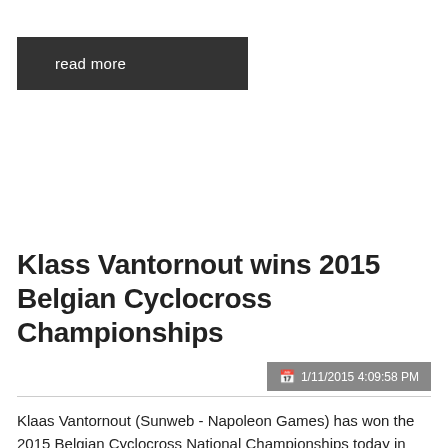read more
Klass Vantornout wins 2015 Belgian Cyclocross Championships
📅 1/11/2015 4:09:58 PM
Klaas Vantornout (Sunweb - Napoleon Games) has won the 2015 Belgian Cyclocross National Championships today in Erpe-Mere. Vantornout